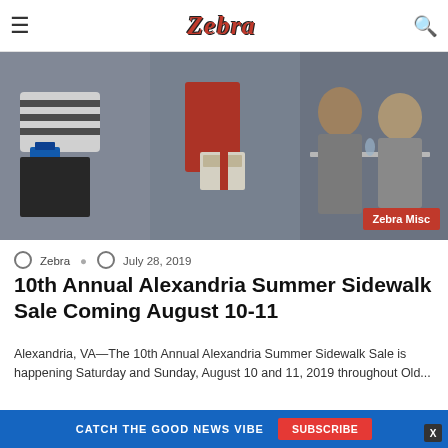Zebra
[Figure (photo): Street scene showing shoppers and diners — a woman in a striped top carrying shopping bags, a woman in a red dress holding a patterned purse, and men seated at an outdoor cafe. Badge reading 'Zebra Misc' in the bottom right.]
Zebra  July 28, 2019
10th Annual Alexandria Summer Sidewalk Sale Coming August 10-11
Alexandria, VA—The 10th Annual Alexandria Summer Sidewalk Sale is happening Saturday and Sunday, August 10 and 11, 2019 throughout Old...
Read More »
CATCH THE GOOD NEWS VIBE  SUBSCRIBE